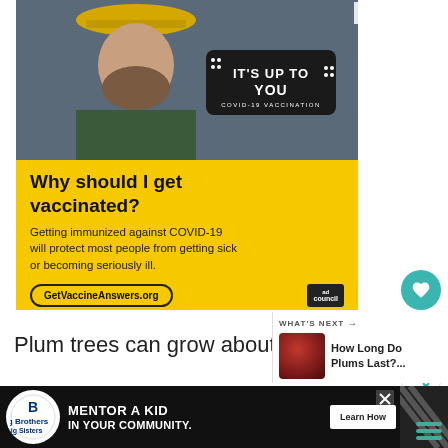[Figure (screenshot): Advertisement banner: COVID-19 vaccination public service announcement. Shows a bearded man in a yellow hard hat. Yellow background with text 'Why should I get vaccinated?' and body copy 'Getting immunized against COVID-19 will protect most people from getting sick or becoming seriously ill.' with CTA 'GetVaccineAnswers.org' and Ad Council logo. Dark badge reads 'IT'S UP TO YOU COVID-19 VACCINATION'.]
Plum trees can grow about 30 fe...
[Figure (photo): Thumbnail image of red/dark plums for 'What's Next' widget]
WHAT'S NEXT → How Long Do Plums Last?...
when fully grown, but it's essential to...
[Figure (screenshot): Bottom advertisement banner: Big Brothers Big Sisters 'Mentor a Kid in Your Community' with Learn How CTA button]